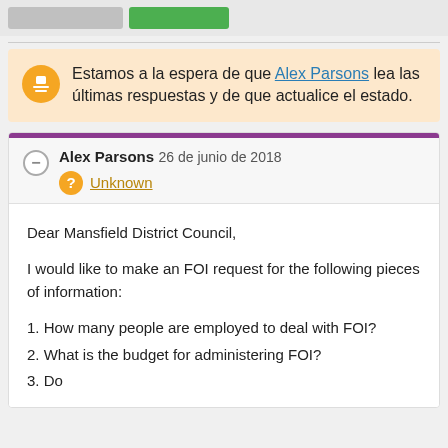[Figure (screenshot): Top navigation bar with gray button, green button, and partial text]
Estamos a la espera de que Alex Parsons lea las últimas respuestas y de que actualice el estado.
Alex Parsons 26 de junio de 2018 Unknown
Dear Mansfield District Council,
I would like to make an FOI request for the following pieces of information:
1. How many people are employed to deal with FOI?
2. What is the budget for administering FOI?
3. Do …